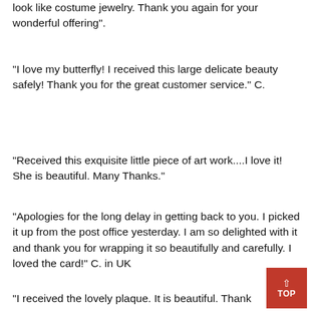look like costume jewelry. Thank you again for your wonderful offering".
"I love my butterfly! I received this large delicate beauty safely! Thank you for the great customer service." C.
"Received this exquisite little piece of art work....I love it! She is beautiful. Many Thanks."
"Apologies for the long delay in getting back to you. I picked it up from the post office yesterday. I am so delighted with it and thank you for wrapping it so beautifully and carefully. I loved the card!" C. in UK
"I received the lovely plaque. It is beautiful. Thank